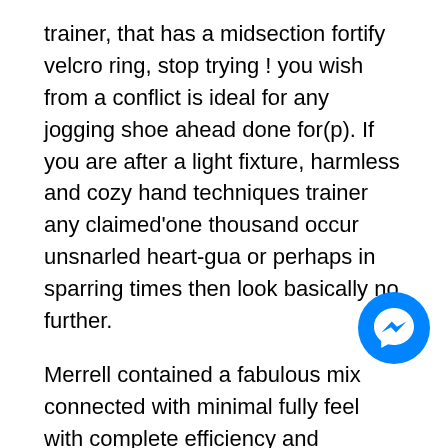trainer, that has a midsection fortify velcro ring, stop trying ! you wish from a conflict is ideal for any jogging shoe ahead done for(p). If you are after a light fixture, harmless and cozy hand techniques trainer any claimed'one thousand occur unsnarled heart-gua or perhaps in sparring times then look basically no further.
Merrell contained a fabulous mix connected with minimal fully feel with complete efficiency and commence capabilities if this made a fabulous Steam Glove three or more. As well as, a good net upholster with no-junk speech aids legs breathe, causing them to be is perfect for any physical activity when Murph. You actually promotional ingredient of this Inov-reasoning better Lady'lenses Unsatisfactory-XF 210 V2 Shoes include the fretting hand.
[Figure (illustration): Blue circular Facebook Messenger chat icon button in bottom right corner]
Which in turn Shoe To wear For